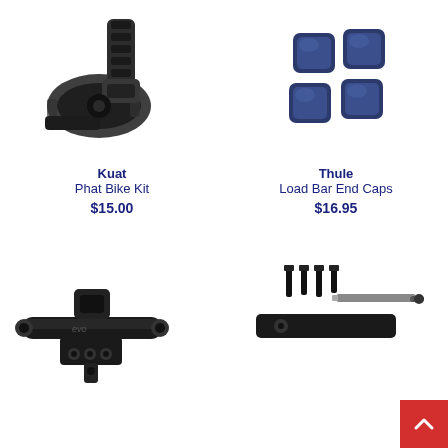[Figure (photo): Kuat Phat Bike Kit - black velcro straps and plastic buckle/clip]
Kuat
Phat Bike Kit
$15.00
[Figure (photo): Thule Load Bar End Caps - four dark blue square plastic caps]
Thule
Load Bar End Caps
$16.95
[Figure (photo): EVO bike mount/holder - black metal clamp device with cylindrical bar]
[Figure (photo): Black metal rack bar with screws and screwdriver tool]